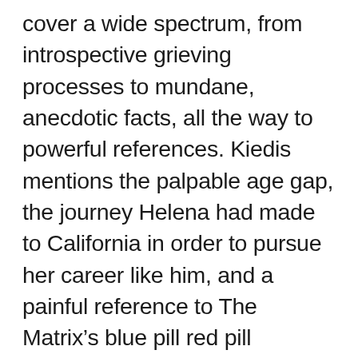cover a wide spectrum, from introspective grieving processes to mundane, anecdotic facts, all the way to powerful references. Kiedis mentions the palpable age gap, the journey Helena had made to California in order to pursue her career like him, and a painful reference to The Matrix’s blue pill red pill dilemma. These subjects are referenced in a brilliant fashion, and many of them were written down before the band joined into work in the tune. Klinghoffer’s chemistry with the rest of the band played a key role regarding the craftsmanship and powerful energy of the track viol...